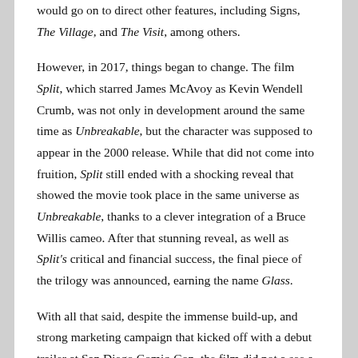would go on to direct other features, including Signs, The Village, and The Visit, among others.
However, in 2017, things began to change. The film Split, which starred James McAvoy as Kevin Wendell Crumb, was not only in development around the same time as Unbreakable, but the character was supposed to appear in the 2000 release. While that did not come into fruition, Split still ended with a shocking reveal that showed the movie took place in the same universe as Unbreakable, thanks to a clever integration of a Bruce Willis cameo. After that stunning reveal, as well as Split's critical and financial success, the final piece of the trilogy was announced, earning the name Glass.
With all that said, despite the immense build-up, and strong marketing campaign that kicked off with a debut trailer at San Diego Comic-Con, the film did not a see a favorable response. Critics were negative on the film, for its poor writing, meandering pace, and rushed